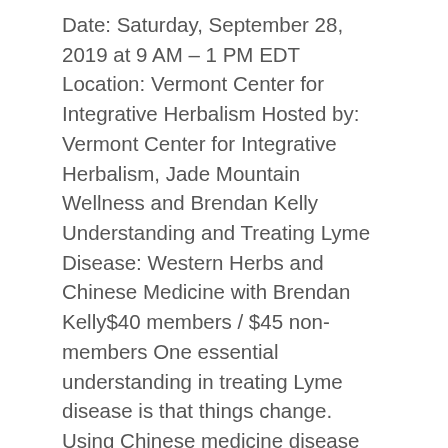Date: Saturday, September 28, 2019 at 9 AM – 1 PM EDT Location: Vermont Center for Integrative Herbalism Hosted by: Vermont Center for Integrative Herbalism, Jade Mountain Wellness and Brendan Kelly Understanding and Treating Lyme Disease: Western Herbs and Chinese Medicine with Brendan Kelly$40 members / $45 non-members One essential understanding in treating Lyme disease is that things change. Using Chinese medicine disease progression theory, we'll discuss how an initial tick bite can lead to a wide range of symptoms including pain, headaches including migraines, gastro-intestinal issues, fatigue and late-stage neurological Lyme. We'll also talk about how understanding the progression of the condition is essential to not only treating symptoms but also preventing Lyme and promoting health. We'll discuss using western herbs, diet and lifestyle to treat the numerous symptoms associated with Lyme. Brendan will also present case studies from the hundreds of Lyme patients he's worked with to discuss.